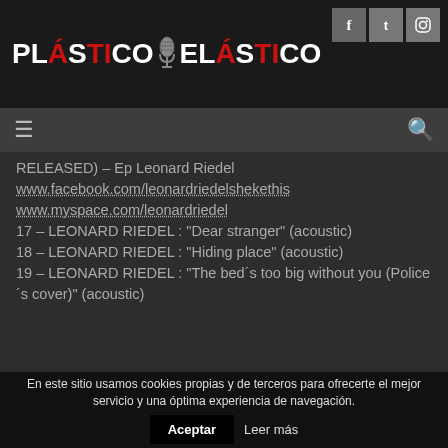Plástico Elástico — logo and social icons (Facebook, Twitter, Instagram)
RELEASED) – Ep Leonard Riedel
www.facebook.com/leonardriedelshekethis
www.myspace.com/leonardriedel
17 – LEONARD RIEDEL : "Dear stranger" (acoustic)
18 – LEONARD RIEDEL : "Hiding place" (acoustic)
19 – LEONARD RIEDEL : "The bed's too big without you (Police's cover)" (acoustic)
En este sitio usamos cookies propias y de terceros para ofrecerte el mejor servicio y una óptima experiencia de navegación.
Aceptar   Leer más